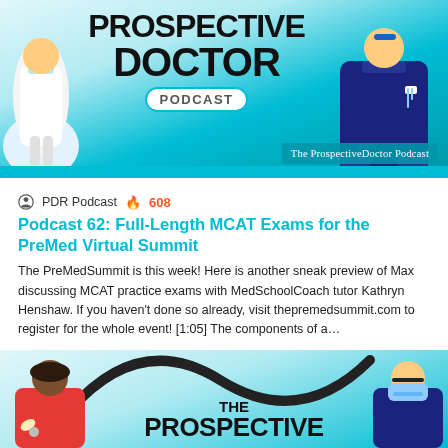[Figure (illustration): Prospective Doctor Podcast banner with two illustrated doctor figures on light blue background, text reading PROSPECTIVE DOCTOR PODCAST, with overlay label 'The ProspectiveDoctor Podcast']
PDR Podcast 🔥 608
Podcast 62: Full-Length MCAT Exams for the PreMed Virtual Summit
The PreMedSummit is this week! Here is another sneak preview of Max discussing MCAT practice exams with MedSchoolCoach tutor Kathryn Henshaw. If you haven't done so already, visit thepremedsummit.com to register for the whole event! [1:05] The components of a…
Read More »
[Figure (illustration): Second Prospective Doctor Podcast banner with two illustrated doctor figures (female on left, male with mask on right), stethoscope in background, text reading THE PROSPECTIVE (partially visible)]